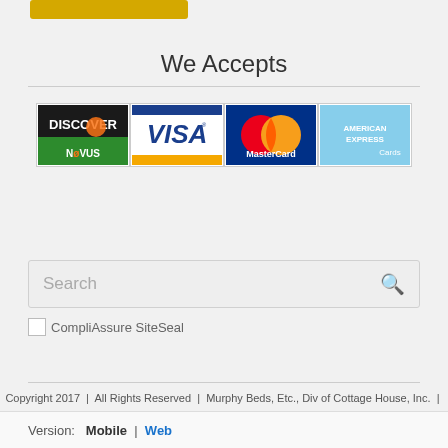[Figure (other): Partial yellow button at top of page]
We Accepts
[Figure (other): Four payment method logos: Discover Novus, Visa, MasterCard, American Express Cards]
[Figure (other): Search box with placeholder text 'Search' and a magnifying glass icon]
[Figure (other): CompliAssure SiteSeal image link]
Copyright 2017  |  All Rights Reserved  |  Murphy Beds, Etc., Div of Cottage House, Inc.  |  Website by iTrust Marketing
Version:  Mobile  |  Web